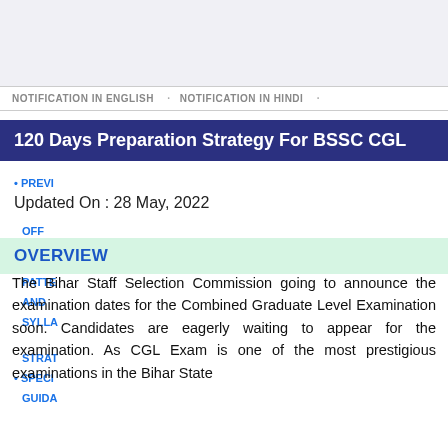NOTIFICATION IN ENGLISH · NOTIFICATION IN HINDI ·
120 Days Preparation Strategy For BSSC CGL
PREVI
Updated On : 28 May, 2022
OFF
OVERVIEW
PATTE
AND
SYLLA
• Combined
STRAT
• SPECI
GUIDA
The Bihar Staff Selection Commission going to announce the examination dates for the Combined Graduate Level Examination soon. Candidates are eagerly waiting to appear for the examination. As CGL Exam is one of the most prestigious examinations in the Bihar State